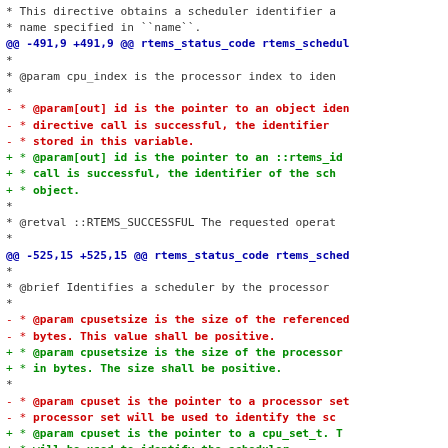Code diff showing changes to rtems scheduler documentation comments
[Figure (screenshot): A unified diff of C/Doxygen source code showing modifications to scheduler identifier and processor set documentation. Removed lines in red, added lines in green, context lines in dark/black, hunk headers in blue.]